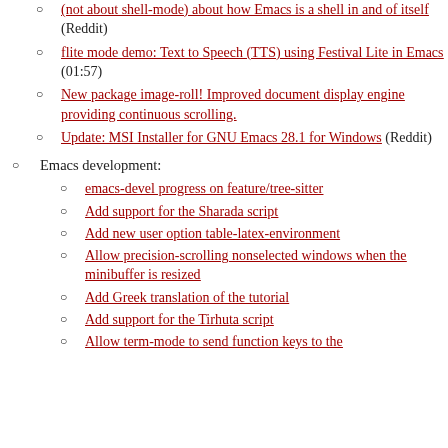(not about shell-mode) about how Emacs is a shell in and of itself (Reddit)
flite mode demo: Text to Speech (TTS) using Festival Lite in Emacs (01:57)
New package image-roll! Improved document display engine providing continuous scrolling.
Update: MSI Installer for GNU Emacs 28.1 for Windows (Reddit)
Emacs development:
emacs-devel progress on feature/tree-sitter
Add support for the Sharada script
Add new user option table-latex-environment
Allow precision-scrolling nonselected windows when the minibuffer is resized
Add Greek translation of the tutorial
Add support for the Tirhuta script
Allow term-mode to send function keys to the